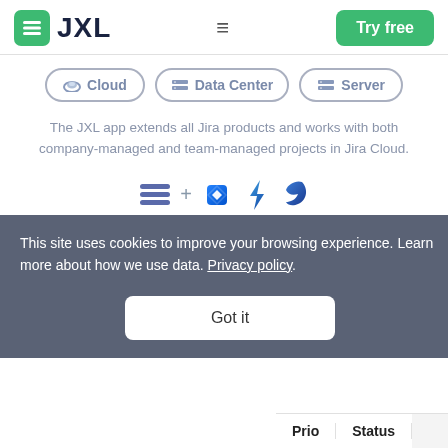[Figure (logo): JXL logo with green icon and dark text]
[Figure (screenshot): Navigation tabs: Cloud, Data Center, Server]
The JXL app extends all Jira products and works with both company-managed and team-managed projects in Jira Cloud.
[Figure (logo): Row of product icons: JXL logo, plus sign, Jira diamond, Jira lightning, Jira leaf]
This site uses cookies to improve your browsing experience. Learn more about how we use data. Privacy policy.
Got it
Prio   Status